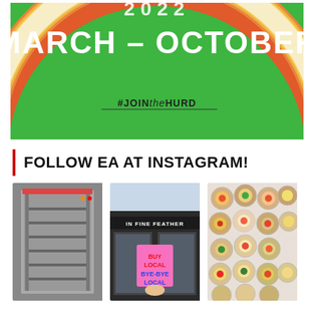[Figure (illustration): Green background promotional graphic showing 'MARCH - OCTOBER' in large white outlined retro letters, with a rainbow arc design (green, orange, red-orange, yellow, cream/white) and '#JOINtheHURD' hashtag text with underline at the bottom]
FOLLOW EA AT INSTAGRAM!
[Figure (photo): Black and white photo of commercial kitchen equipment - a large industrial rack oven with wire shelving racks visible]
[Figure (photo): Photo of a person holding a pink sign reading 'BUY LOCAL BYE-BYE LOCAL' in front of a storefront with 'IN FINE FEATHER' signage]
[Figure (photo): Colorful photo of assorted appetizers or hors d'oeuvres arranged in small round trays/cups, various colors including pink, yellow, green garnishes]